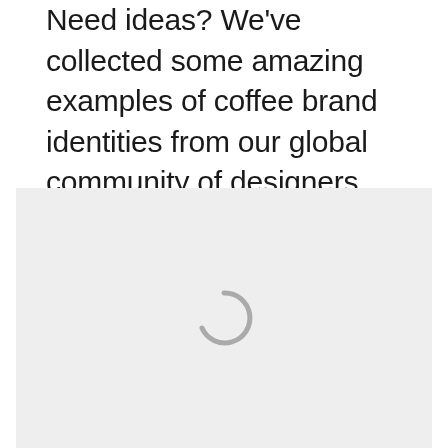Need ideas? We've collected some amazing examples of coffee brand identities from our global community of designers. Get inspired and start planning the perfect coffee brand design today.
[Figure (other): A light gray placeholder image area with a loading spinner (partial circle arc) centered within it, indicating content is loading.]